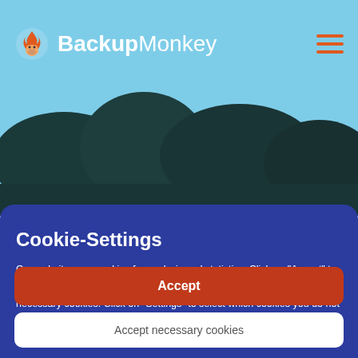[Figure (screenshot): BackupMonkey website header with logo (flame/monkey icon) and hamburger menu icon on a light blue sky background with tree silhouettes]
Cookie-Settings
Our website uses cookies for analysis and statistics. Click on "Accept" to give your consent to the setting of and access to technically not necessary cookies. Click on "Settings" to select which cookies you do not accept. You can withdraw your consent or adjust your settings at any time.
Accept
Accept necessary cookies